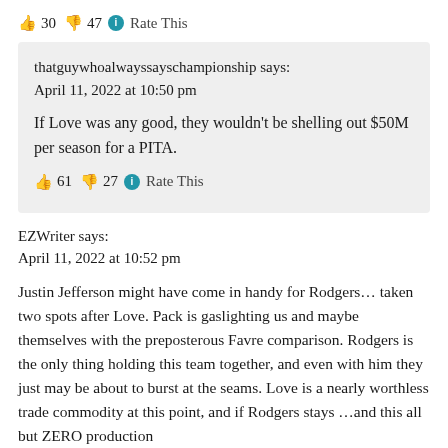👍 30 👎 47 ℹ Rate This
thatguywhoalwayssayschampionship says:
April 11, 2022 at 10:50 pm
If Love was any good, they wouldn't be shelling out $50M per season for a PITA.
👍 61 👎 27 ℹ Rate This
EZWriter says:
April 11, 2022 at 10:52 pm
Justin Jefferson might have come in handy for Rodgers… taken two spots after Love. Pack is gaslighting us and maybe themselves with the preposterous Favre comparison. Rodgers is the only thing holding this team together, and even with him they just may be about to burst at the seams. Love is a nearly worthless trade commodity at this point, and if Rodgers stays … and this all but ZERO production